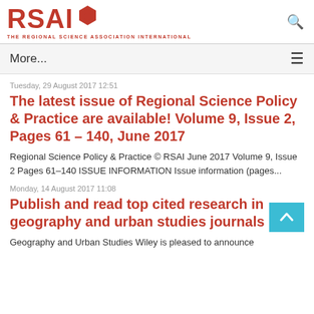RSAI THE REGIONAL SCIENCE ASSOCIATION INTERNATIONAL
More...
Tuesday, 29 August 2017 12:51
The latest issue of Regional Science Policy & Practice are available! Volume 9, Issue 2, Pages 61 – 140, June 2017
Regional Science Policy & Practice © RSAI June 2017 Volume 9, Issue 2 Pages 61–140 ISSUE INFORMATION Issue information (pages...
Monday, 14 August 2017 11:08
Publish and read top cited research in geography and urban studies journals
Geography and Urban Studies Wiley is pleased to announce